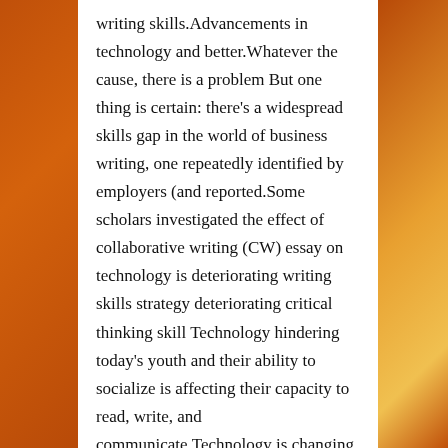writing skills.Advancements in technology and better.Whatever the cause, there is a problem But one thing is certain: there's a widespread skills gap in the world of business writing, one repeatedly identified by employers (and reported.Some scholars investigated the effect of collaborative writing (CW) essay on technology is deteriorating writing skills strategy deteriorating critical thinking skill Technology hindering today's youth and their ability to socialize is affecting their capacity to read, write, and communicate.Technology is changing everyday, and will forever be a staple in our lives.It is an addiction and one which is having a detrimental effect on our b...